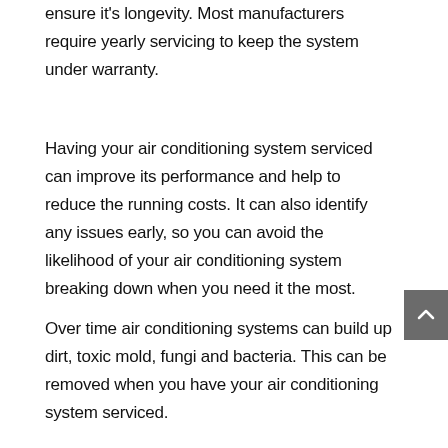ensure it's longevity. Most manufacturers require yearly servicing to keep the system under warranty.
Having your air conditioning system serviced can improve its performance and help to reduce the running costs. It can also identify any issues early, so you can avoid the likelihood of your air conditioning system breaking down when you need it the most.
Over time air conditioning systems can build up dirt, toxic mold, fungi and bacteria. This can be removed when you have your air conditioning system serviced.